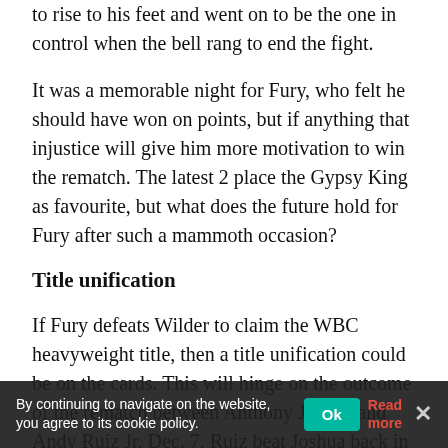to rise to his feet and went on to be the one in control when the bell rang to end the fight.
It was a memorable night for Fury, who felt he should have won on points, but if anything that injustice will give him more motivation to win the rematch. The latest 2 place the Gypsy King as favourite, but what does the future hold for Fury after such a mammoth occasion?
Title unification
If Fury defeats Wilder to claim the WBC heavyweight title, then a title unification could be on the cards. This will hinge on the outcome of the rematch between Anthony Joshua and Andy Ruiz Jr. Dec. 7. Ruiz beat Joshua back in June to win the WBA, IBF, WBO, and IBO heavyweight titles. If he defeats Joshua again, then a clash with [Fury] would be the logical step…